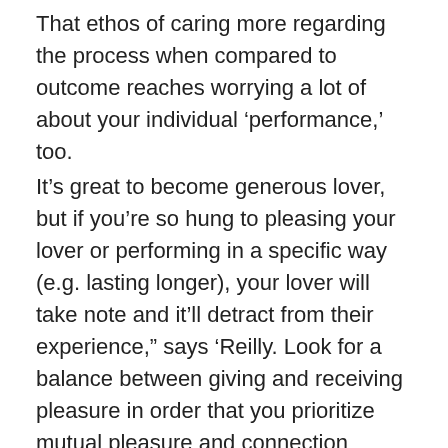That ethos of caring more regarding the process when compared to outcome reaches worrying a lot of about your individual ‘performance,’ too.
It’s great to become generous lover, but if you’re so hung to pleasing your lover or performing in a specific way (e.g. lasting longer), your lover will take note and it’ll detract from their experience,” says ‘Reilly. Look for a balance between giving and receiving pleasure in order that you prioritize mutual pleasure and connection instead of measuring your personal performance.”
If you’re fighting a penis that wont get or stay hard because of nerves or alcohol, or